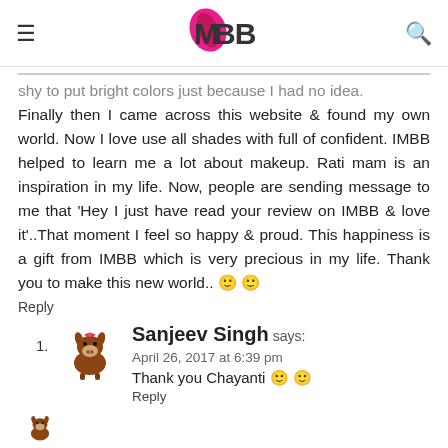IMBB
shy to put bright colors just because I had no idea. Finally then I came across this website & found my own world. Now I love use all shades with full of confident. IMBB helped to learn me a lot about makeup. Rati mam is an inspiration in my life. Now, people are sending message to me that 'Hey I just have read your review on IMBB & love it'..That moment I feel so happy & proud. This happiness is a gift from IMBB which is very precious in my life. Thank you to make this new world.. 🙂 🙂
Reply
1. Sanjeev Singh says:
April 26, 2017 at 6:39 pm
Thank you Chayanti 🙂 🙂
Reply